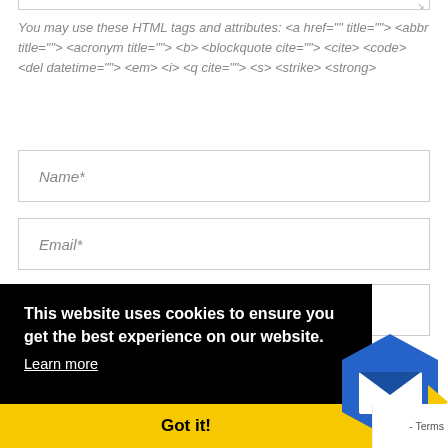You may use these HTML tags and attributes: <a href="" title=""> <abbr title=""> <acronym title=""> <b> <blockquote cite=""> <cite> <code> <del datetime=""> <em> <i> <q cite=""> <s> <strike> <strong>
Name*
Email*
This website uses cookies to ensure you get the best experience on our website.
Learn more
Got it!
Sign me up for the newsletter!
Terms